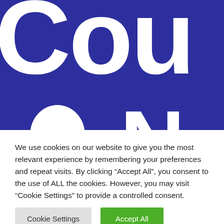[Figure (illustration): Large blue banner with oversized white bold letters partially visible: 'Cou' on top row and 'N' on lower row, suggesting the word 'County' or similar government branding. A white semicircle is partially visible at the bottom left.]
We use cookies on our website to give you the most relevant experience by remembering your preferences and repeat visits. By clicking “Accept All”, you consent to the use of ALL the cookies. However, you may visit “Cookie Settings” to provide a controlled consent.
Cookie Settings
Accept All